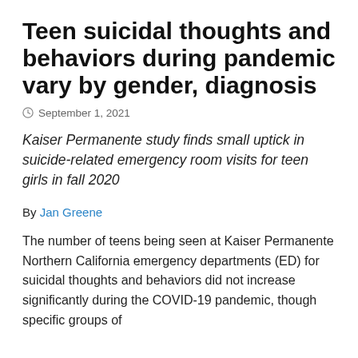Teen suicidal thoughts and behaviors during pandemic vary by gender, diagnosis
September 1, 2021
Kaiser Permanente study finds small uptick in suicide-related emergency room visits for teen girls in fall 2020
By Jan Greene
The number of teens being seen at Kaiser Permanente Northern California emergency departments (ED) for suicidal thoughts and behaviors did not increase significantly during the COVID-19 pandemic, though specific groups of